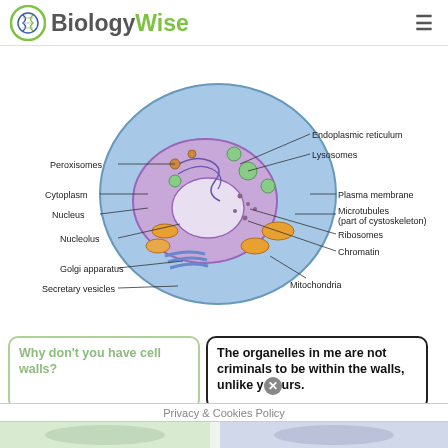BiologyWise
[Figure (illustration): Labeled diagram of an animal cell showing organelles: Endoplasmic reticulum, Lysosomes, Plasma membrane, Microtubules (part of cystoskeleton), Ribosomes, Chromatin, Mitochondria, Golgi apparatus, Secretary vesicles, Nucleus, Nucleolus, Cytoplasm, Peroxisomes]
Why don't you have cell walls?
The organelles in me are not criminals to be within the walls, unlike yours.
Privacy & Cookies Policy